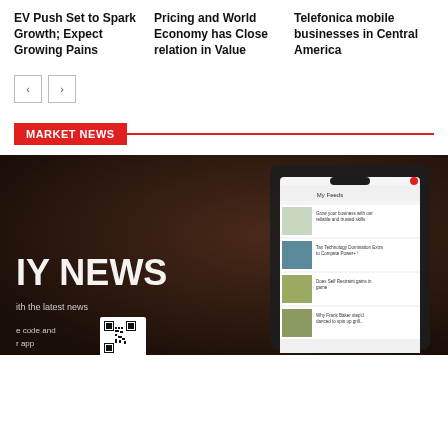EV Push Set to Spark Growth; Expect Growing Pains
Pricing and World Economy has Close relation in Value
Telefonica mobile businesses in Central America
[Figure (other): Navigation arrow buttons (previous/next carousel controls)]
MARKET NEWS
[Figure (photo): Dark background image showing a hand holding a smartphone displaying a news app (My Feeds), with overlaid text 'IY NEWS' and 'ith the latest news', a QR code, and partial text 'e code and r app']